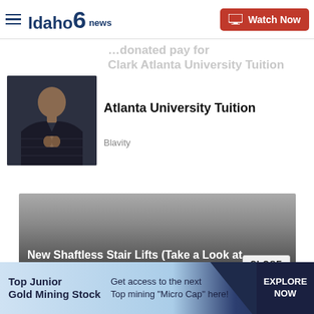Idaho News 6 — Watch Now
Atlanta University Tuition
Blavity
[Figure (photo): Man in dark puffer jacket with hands pressed together in prayer pose]
[Figure (photo): Gray gradient banner image area]
New Shaftless Stair Lifts (Take a Look at the Prices)
CLOSE
Top Junior Gold Mining Stock
Get access to the next Top mining "Micro Cap" here!
EXPLORE NOW